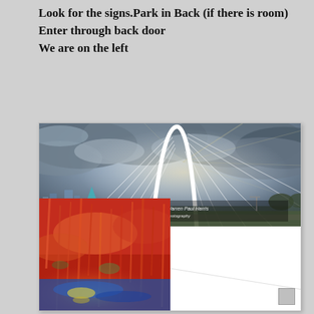Look for the signs.Park in Back (if there is room)
Enter through back door
We are on the left
[Figure (photo): Composite image showing a cable-stayed arch bridge (Margaret Hunt Hill Bridge) against a dramatic cloudy sky in the upper portion, overlapping with a colorful impressionist painting of a landscape with red and yellow hues and blue water in the lower-left, and a white area in the lower-right with a partial red painting visible at the bottom edge. A photographer watermark reads 'Warren Paul Harris photography' over the bridge photo.]